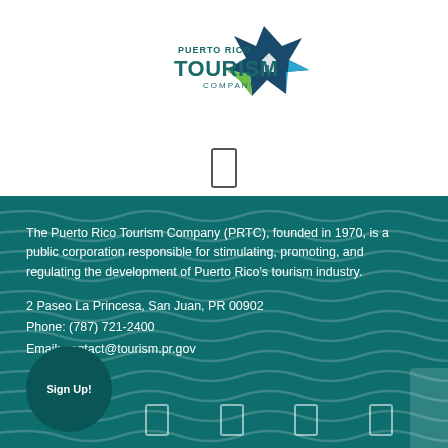[Figure (logo): Puerto Rico Tourism Company logo with star graphic and teal/green/blue colors]
The Puerto Rico Tourism Company (PRTC), founded in 1970, is a public corporation responsible for stimulating, promoting, and regulating the development of Puerto Rico's tourism industry.
2 Paseo La Princesa, San Juan, PR 00902
Phone: (787) 721-2400
Email: contact@tourism.pr.gov
Sign Up!